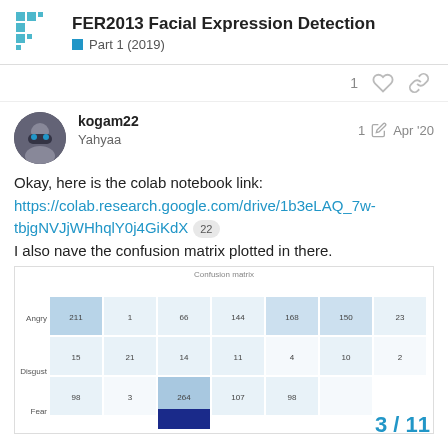FER2013 Facial Expression Detection — Part 1 (2019)
kogam22
Yahyaa
1 ✎  Apr '20
Okay, here is the colab notebook link:
https://colab.research.google.com/drive/1b3eLAQ_7w-tbjgNVJjWHhqlY0j4GiKdX  22
I also nave the confusion matrix plotted in there.
[Figure (other): Confusion matrix heatmap showing facial expression classification results for Angry, Disgust, Fear rows with numeric values in each cell]
3 / 11